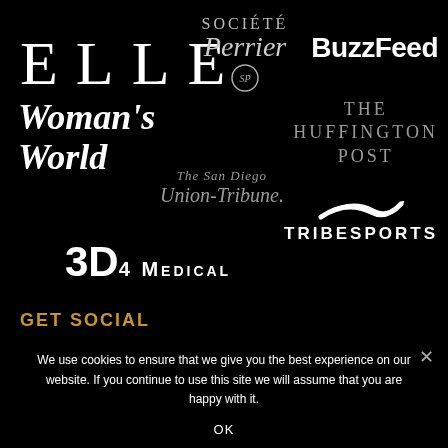[Figure (logo): ELLE magazine logo - large serif letters]
[Figure (logo): Société Perrier logo with emblem]
[Figure (logo): BuzzFeed logo in bold sans-serif]
[Figure (logo): Woman's World logo in italic serif]
[Figure (logo): The Huffington Post logo in small-caps serif]
[Figure (logo): The San Diego Union-Tribune logo in gothic/blackletter italic]
[Figure (logo): Tribesports logo with swoosh graphic]
[Figure (logo): 3D4Medical logo]
GET SOCIAL
We use cookies to ensure that we give you the best experience on our website. If you continue to use this site we will assume that you are happy with it.
OK